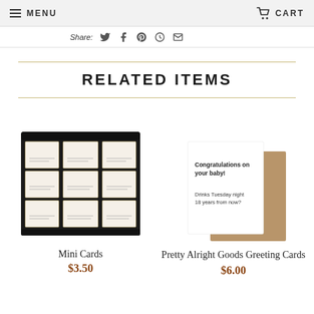MENU   CART
Share:
RELATED ITEMS
[Figure (photo): A display box containing 9 small mini cards arranged in a 3x3 grid, with white cards in a black holder.]
Mini Cards
$3.50
[Figure (photo): A greeting card showing text: Congratulations on your baby! Drinks Tuesday night 18 years from now? The card leans against a brown kraft envelope.]
Pretty Alright Goods Greeting Cards
$6.00